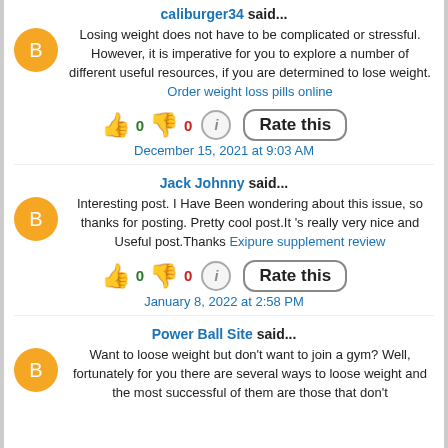caliburger34 said...
Losing weight does not have to be complicated or stressful. However, it is imperative for you to explore a number of different useful resources, if you are determined to lose weight. Order weight loss pills online
[Figure (other): Rating widget with thumbs up (0), thumbs down (0), info icon, and Rate this button]
December 15, 2021 at 9:03 AM
Jack Johnny said...
Interesting post. I Have Been wondering about this issue, so thanks for posting. Pretty cool post.It 's really very nice and Useful post.Thanks Exipure supplement review
[Figure (other): Rating widget with thumbs up (0), thumbs down (0), info icon, and Rate this button]
January 8, 2022 at 2:58 PM
Power Ball Site said...
Want to loose weight but don't want to join a gym? Well, fortunately for you there are several ways to loose weight and the most successful of them are those that don't